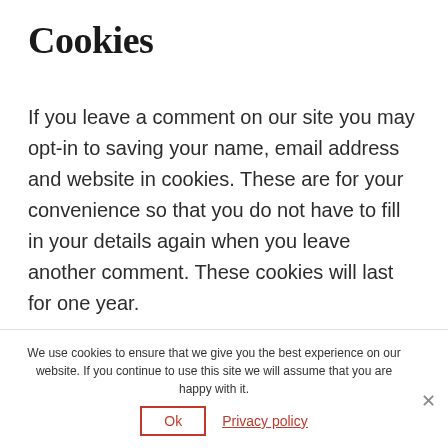Cookies
If you leave a comment on our site you may opt-in to saving your name, email address and website in cookies. These are for your convenience so that you do not have to fill in your details again when you leave another comment. These cookies will last for one year.
We use cookies to ensure that we give you the best experience on our website. If you continue to use this site we will assume that you are happy with it.
Ok   Privacy policy